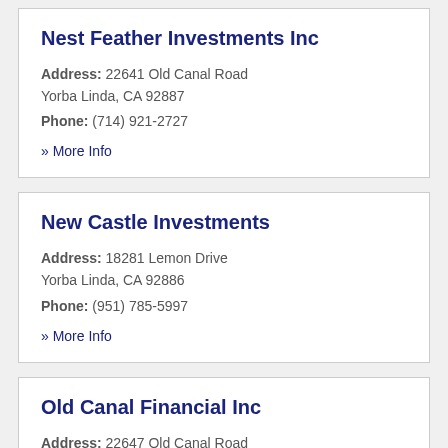Nest Feather Investments Inc
Address: 22641 Old Canal Road Yorba Linda, CA 92887
Phone: (714) 921-2727
» More Info
New Castle Investments
Address: 18281 Lemon Drive Yorba Linda, CA 92886
Phone: (951) 785-5997
» More Info
Old Canal Financial Inc
Address: 22647 Old Canal Road